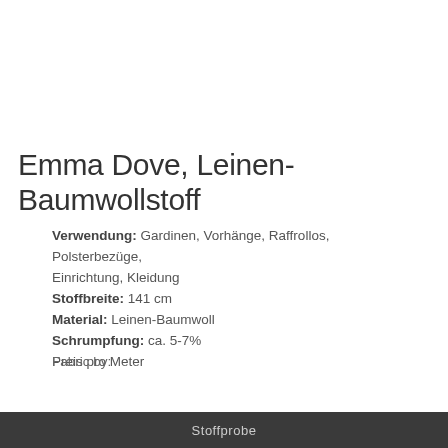Emma Dove, Leinen-Baumwollstoff
Verwendung: Gardinen, Vorhänge, Raffrollos, Polsterbezüge, Einrichtung, Kleidung
Stoffbreite: 141 cm
Material: Leinen-Baumwoll
Schrumpfung: ca. 5-7%
Preis pro Meter
Fabric by:
Stoffprobe